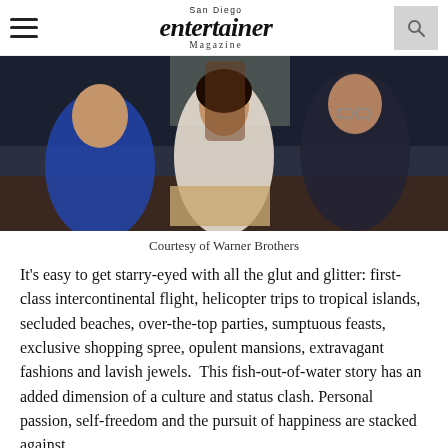San Diego Entertainer Magazine
[Figure (photo): Three people seated at a dining table in an ornate setting. A man in a blue shirt on the left, a smiling woman in a white floral dress in the center, and a man with glasses in a dark striped shirt on the right.]
Courtesy of Warner Brothers
It’s easy to get starry-eyed with all the glut and glitter: first-class intercontinental flight, helicopter trips to tropical islands, secluded beaches, over-the-top parties, sumptuous feasts, exclusive shopping spree, opulent mansions, extravagant fashions and lavish jewels.  This fish-out-of-water story has an added dimension of a culture and status clash. Personal passion, self-freedom and the pursuit of happiness are stacked against